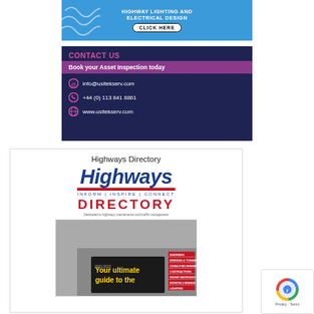[Figure (infographic): Blue banner ad for highway lighting and electrical design with CLICK HERE button and wave graphic]
[Figure (infographic): Contact Us dark navy banner: Book your Asset Inspection today, info@usltekserv.com, +44 (0) 113 841 8861, www.usltekserv.com]
Highways Directory
[Figure (infographic): Highways Directory book cover: Highways INFORM INSPIRE CONNECT DIRECTORY - Dedicated to highways maintenance and traffic management, 2021/2022, Your ultimate guide to the...]